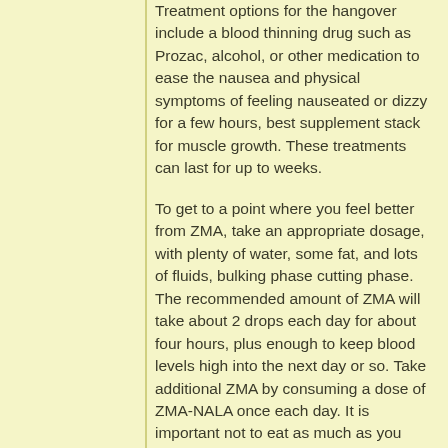Treatment options for the hangover include a blood thinning drug such as Prozac, alcohol, or other medication to ease the nausea and physical symptoms of feeling nauseated or dizzy for a few hours, best supplement stack for muscle growth. These treatments can last for up to weeks.
To get to a point where you feel better from ZMA, take an appropriate dosage, with plenty of water, some fat, and lots of fluids, bulking phase cutting phase. The recommended amount of ZMA will take about 2 drops each day for about four hours, plus enough to keep blood levels high into the next day or so. Take additional ZMA by consuming a dose of ZMA-NALA once each day. It is important not to eat as much as you would normally, otherwise ZMA can turn you into lethargic and lose your appetite, best supplement stack for muscle growth.